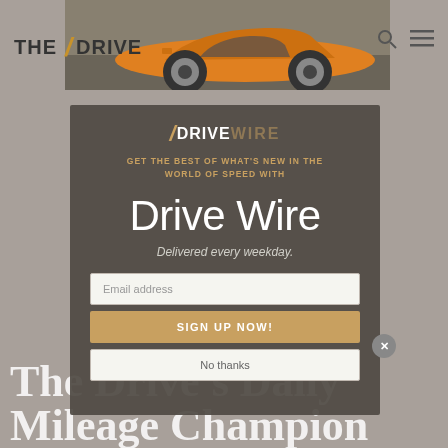THE DRIVE
[Figure (photo): Orange Lamborghini sports car side view in a garage/showroom setting, used as background header image]
[Figure (logo): DRIVE WIRE logo with orange slash mark, white DRIVE text, and faded gold WIRE text]
GET THE BEST OF WHAT'S NEW IN THE WORLD OF SPEED WITH
Drive Wire
Delivered every weekday.
Email address
SIGN UP NOW!
No thanks
The Drive's Daily Mileage Champion